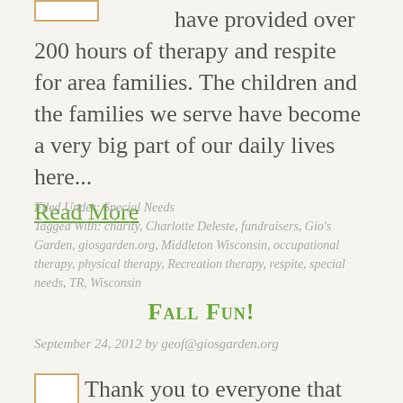[Figure (other): Small thumbnail image placeholder box at top left]
have provided over 200 hours of therapy and respite for area families. The children and the families we serve have become a very big part of our daily lives here...
Read More
Filed Under: Special Needs
Tagged With: charity, Charlotte Deleste, fundraisers, Gio's Garden, giosgarden.org, Middleton Wisconsin, occupational therapy, physical therapy, Recreation therapy, respite, special needs, TR, Wisconsin
Fall Fun!
September 24, 2012 by geof@giosgarden.org
[Figure (other): Small thumbnail image placeholder box at bottom left]
Thank you to everyone that came out to